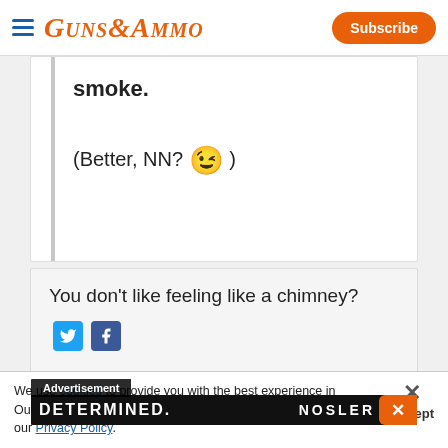GUNS&AMMO  Subscribe
smoke.
(Better, NN? 😉 )
You don't like feeling like a chimney?
[Figure (screenshot): Twitter and Facebook share icons]
[Figure (screenshot): Advertisement banner: DETERMINED. NOSLER with close button]
We use cookies to provide you with the best experience in Outdoors programming. Click accept to continue or read about our Privacy Policy.